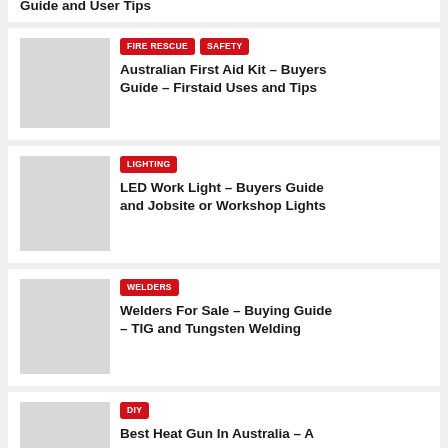Guide and User Tips
FIRE RESCUE | SAFETY — Australian First Aid Kit – Buyers Guide – Firstaid Uses and Tips
LIGHTING — LED Work Light – Buyers Guide and Jobsite or Workshop Lights
WELDERS — Welders For Sale – Buying Guide – TIG and Tungsten Welding
DIY — Best Heat Gun In Australia – A